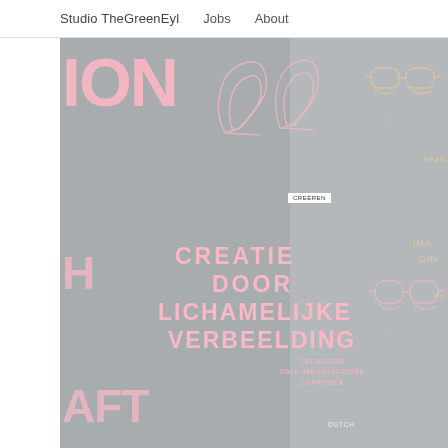Studio TheGreenEyl   Jobs   About
[Figure (photo): Dark gray background exhibition installation photo showing pink neon text reading 'CREATIE DOOR LICHAMELIJKE VERBEELDING' (Dutch for 'creation through physical imagination') along with partially visible text fragments 'TION', 'CH', 'AFT', outline illustrations of eyeglasses in cream/orange neon on the right side, outline shoe/heel illustrations at the top center, a small white label tag, and small text labels in Italian 'CREAZIONE DALL'IMMAGINAZIONE CORPOREA' and 'DUTCH']